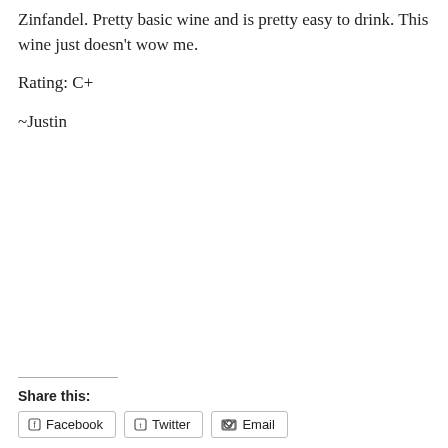Zinfandel. Pretty basic wine and is pretty easy to drink. This wine just doesn't wow me.
Rating: C+
~Justin
Share this:
Facebook  Twitter  Email